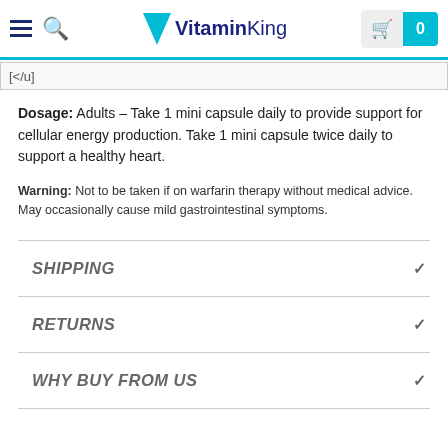VitaminKing — navigation bar with hamburger menu, search icon, logo, and cart (0)
Dosage: Adults – Take 1 mini capsule daily to provide support for cellular energy production. Take 1 mini capsule twice daily to support a healthy heart.
Warning: Not to be taken if on warfarin therapy without medical advice. May occasionally cause mild gastrointestinal symptoms.
SHIPPING
RETURNS
WHY BUY FROM US